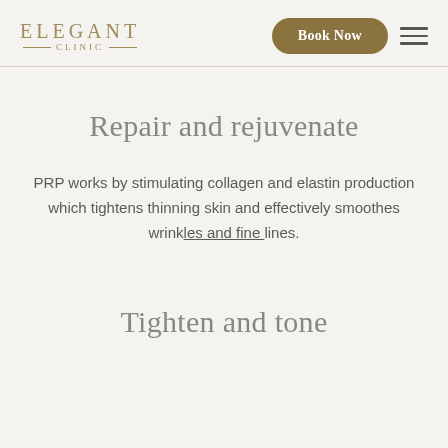ELEGANT CLINIC | Book Now
Repair and rejuvenate
PRP works by stimulating collagen and elastin production which tightens thinning skin and effectively smoothes wrinkles and fine lines.
Tighten and tone